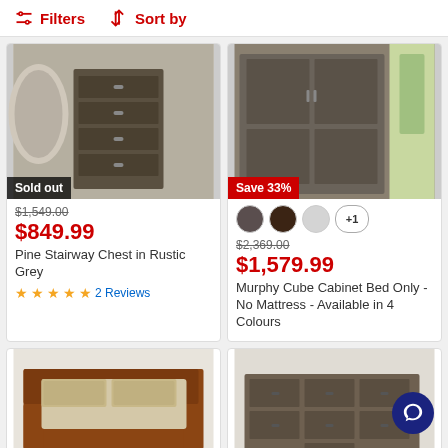Filters   Sort by
[Figure (photo): Pine Stairway Chest in Rustic Grey - sold out furniture item]
$1,549.00 (strikethrough) $849.99 Pine Stairway Chest in Rustic Grey ★★★★★ 2 Reviews
[Figure (photo): Murphy Cube Cabinet Bed - Save 33% badge]
colour swatches: dark grey, dark brown, light grey, +1  $2,369.00 (strikethrough) $1,579.99 Murphy Cube Cabinet Bed Only - No Mattress - Available in 4 Colours
[Figure (photo): Bed frame in warm brown wood - Save up to 43% badge]
[Figure (photo): Dresser with multiple drawers - Save 43% badge]